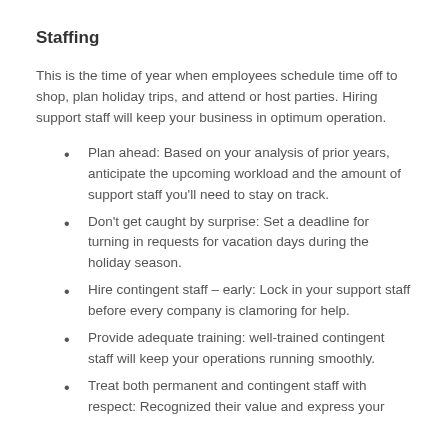Staffing
This is the time of year when employees schedule time off to shop, plan holiday trips, and attend or host parties. Hiring support staff will keep your business in optimum operation.
Plan ahead: Based on your analysis of prior years, anticipate the upcoming workload and the amount of support staff you'll need to stay on track.
Don't get caught by surprise: Set a deadline for turning in requests for vacation days during the holiday season.
Hire contingent staff – early: Lock in your support staff before every company is clamoring for help.
Provide adequate training: well-trained contingent staff will keep your operations running smoothly.
Treat both permanent and contingent staff with respect: Recognized their value and express your